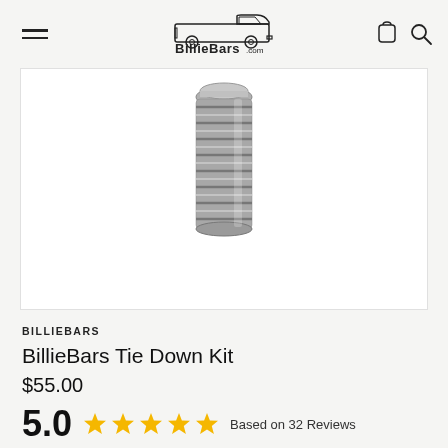BillieBars.com
[Figure (photo): A metallic threaded bolt/tie-down knob component shown against a white background]
BILLIEBARS
BillieBars Tie Down Kit
$55.00
5.0  ★★★★★  Based on 32 Reviews